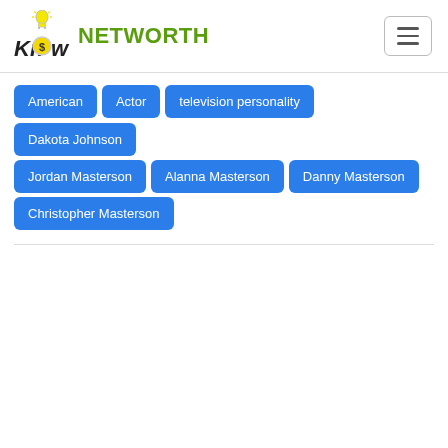KnowNETWORTH
American
Actor
television personality
Dakota Johnson
Jordan Masterson
Alanna Masterson
Danny Masterson
Christopher Masterson